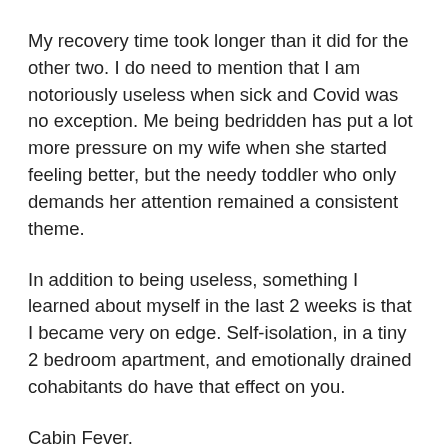My recovery time took longer than it did for the other two. I do need to mention that I am notoriously useless when sick and Covid was no exception. Me being bedridden has put a lot more pressure on my wife when she started feeling better, but the needy toddler who only demands her attention remained a consistent theme.
In addition to being useless, something I learned about myself in the last 2 weeks is that I became very on edge. Self-isolation, in a tiny 2 bedroom apartment, and emotionally drained cohabitants do have that effect on you.
Cabin Fever.